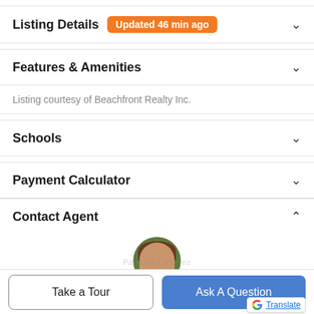Listing Details Updated 46 min ago
Features & Amenities
Listing courtesy of Beachfront Realty Inc.
Schools
Payment Calculator
Contact Agent
[Figure (photo): Agent profile photo - woman with brown hair]
Take a Tour
Ask A Question
Translate